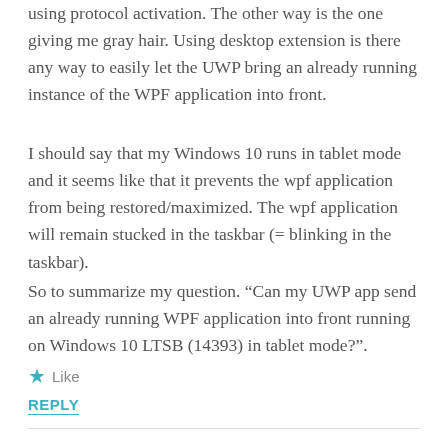using protocol activation. The other way is the one giving me gray hair. Using desktop extension is there any way to easily let the UWP bring an already running instance of the WPF application into front.
I should say that my Windows 10 runs in tablet mode and it seems like that it prevents the wpf application from being restored/maximized. The wpf application will remain stucked in the taskbar (= blinking in the taskbar).
So to summarize my question. “Can my UWP app send an already running WPF application into front running on Windows 10 LTSB (14393) in tablet mode?”.
Like
REPLY